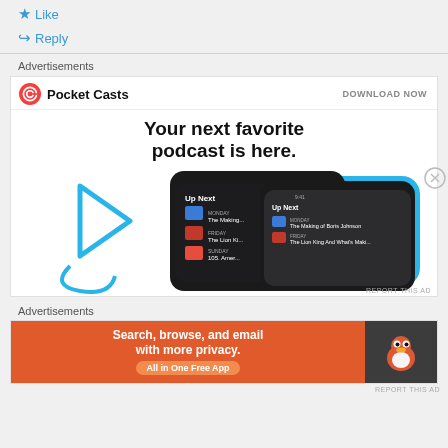★ Like
↪ Reply
Advertisements
[Figure (screenshot): Pocket Casts advertisement banner with logo, 'DOWNLOAD NOW' link, tagline 'Your next favorite podcast is here.' and phone screenshots showing the app's Up Next playlist interface]
REPORT THIS AD
Advertisements
[Figure (screenshot): DuckDuckGo advertisement: orange background with text 'Search, browse, and email with more privacy. All in One Free App' and DuckDuckGo logo on dark background]